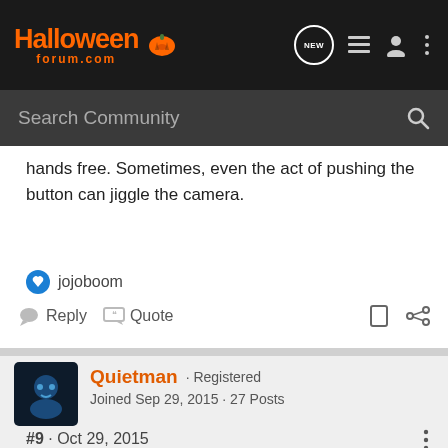HalloweenForum.com — Navigation bar with logo, NEW, list, user, more icons, and Search Community bar
hands free. Sometimes, even the act of pushing the button can jiggle the camera.
jojoboom
Reply   Quote
Quietman · Registered
Joined Sep 29, 2015 · 27 Posts
#9 · Oct 29, 2015
Mojave said: